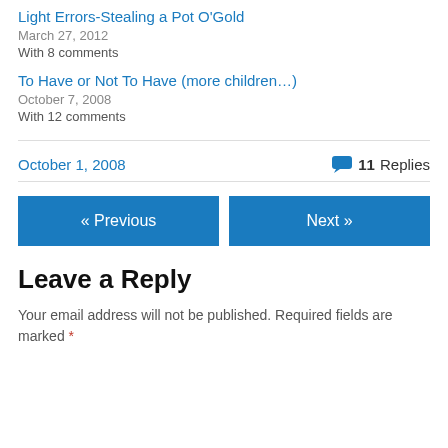Light Errors-Stealing a Pot O'Gold
March 27, 2012
With 8 comments
To Have or Not To Have (more children…)
October 7, 2008
With 12 comments
October 1, 2008
11 Replies
« Previous
Next »
Leave a Reply
Your email address will not be published. Required fields are marked *